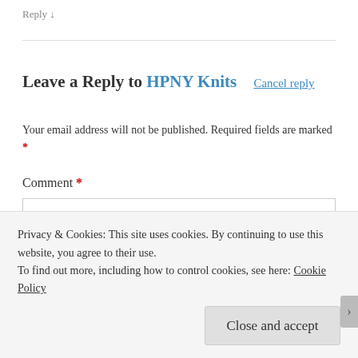Reply ↓
Leave a Reply to HPNY Knits    Cancel reply
Your email address will not be published. Required fields are marked *
Comment *
Privacy & Cookies: This site uses cookies. By continuing to use this website, you agree to their use.
To find out more, including how to control cookies, see here: Cookie Policy
Close and accept